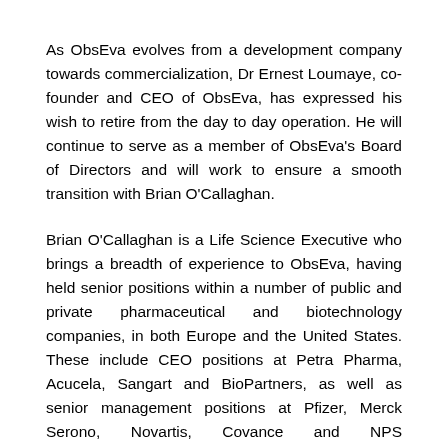As ObsEva evolves from a development company towards commercialization, Dr Ernest Loumaye, co-founder and CEO of ObsEva, has expressed his wish to retire from the day to day operation. He will continue to serve as a member of ObsEva's Board of Directors and will work to ensure a smooth transition with Brian O'Callaghan.
Brian O'Callaghan is a Life Science Executive who brings a breadth of experience to ObsEva, having held senior positions within a number of public and private pharmaceutical and biotechnology companies, in both Europe and the United States. These include CEO positions at Petra Pharma, Acucela, Sangart and BioPartners, as well as senior management positions at Pfizer, Merck Serono, Novartis, Covance and NPS Pharmaceuticals. Brian brings with him a wide range of experience, having managed business and processes across multiple therapeutic...